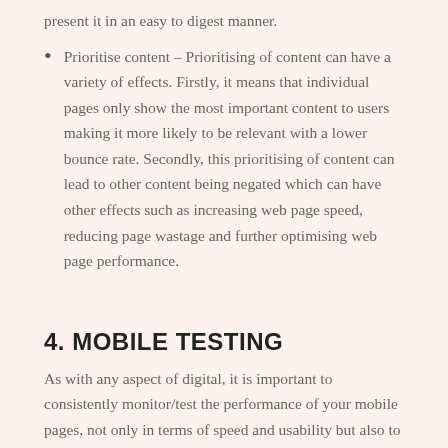present it in an easy to digest manner.
Prioritise content – Prioritising of content can have a variety of effects. Firstly, it means that individual pages only show the most important content to users making it more likely to be relevant with a lower bounce rate. Secondly, this prioritising of content can lead to other content being negated which can have other effects such as increasing web page speed, reducing page wastage and further optimising web page performance.
4. MOBILE TESTING
As with any aspect of digital, it is important to consistently monitor/test the performance of your mobile pages, not only in terms of speed and usability but also to make sure the page works